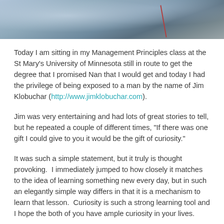[Figure (photo): Top portion of a photograph showing a snowy or icy outdoor scene with rocky elements and a red line/rope visible]
Today I am sitting in my Management Principles class at the St Mary's University of Minnesota still in route to get the degree that I promised Nan that I would get and today I had the privilege of being exposed to a man by the name of Jim Klobuchar (http://www.jimklobuchar.com).
Jim was very entertaining and had lots of great stories to tell, but he repeated a couple of different times, "If there was one gift I could give to you it would be the gift of curiosity."
It was such a simple statement, but it truly is thought provoking.  I immediately jumped to how closely it matches to the idea of learning something new every day, but in such an elegantly simple way differs in that it is a mechanism to learn that lesson.  Curiosity is such a strong learning tool and I hope the both of you have ample curiosity in your lives.